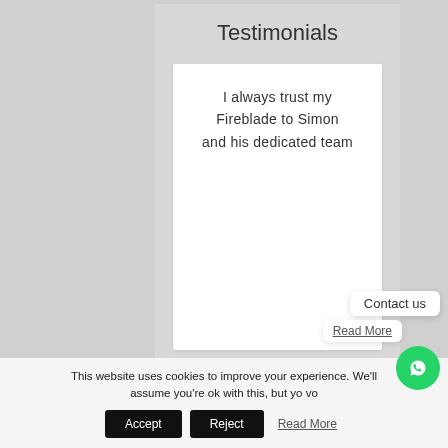Testimonials
I always trust my Fireblade to Simon and his dedicated team
This website uses cookies to improve your experience. We'll assume you're ok with this, but yo... vo...
Contact us
Read More